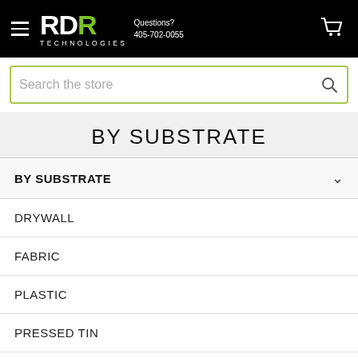RDR Technologies — Questions? 405-702-0055
Search the store
BY SUBSTRATE
BY SUBSTRATE
DRYWALL
FABRIC
PLASTIC
PRESSED TIN
ROOFING/DECKS
SPRAY FOAM